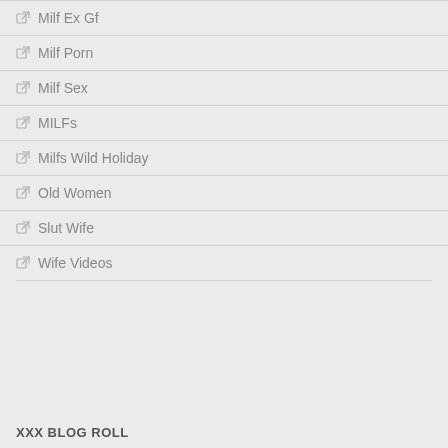Milf Ex Gf
Milf Porn
Milf Sex
MILFs
Milfs Wild Holiday
Old Women
Slut Wife
Wife Videos
XXX BLOG ROLL